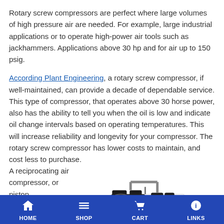Rotary screw compressors are perfect where large volumes of high pressure air are needed. For example, large industrial applications or to operate high-power air tools such as jackhammers. Applications above 30 hp and for air up to 150 psig.
According Plant Engineering, a rotary screw compressor, if well-maintained, can provide a decade of dependable service. This type of compressor, that operates above 30 horse power, also has the ability to tell you when the oil is low and indicate oil change intervals based on operating temperatures. This will increase reliability and longevity for your compressor. The rotary screw compressor has lower costs to maintain, and cost less to purchase.
A reciprocating air compressor, or piston
[Figure (photo): Photo of a reciprocating/piston air compressor on a horizontal tank, showing dual-cylinder pump head, motor, and gray tank with American flag decal.]
HOME   SHOP   CART   LINKS